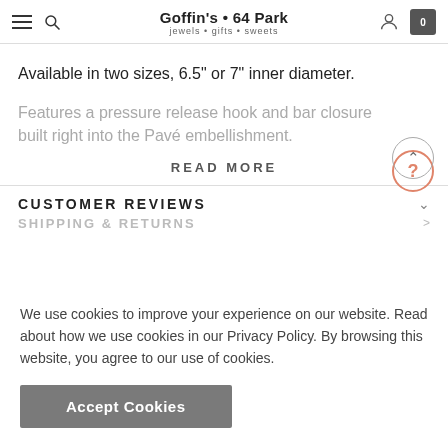Goffin's • 64 Park — jewels • gifts • sweets
Available in two sizes, 6.5" or 7" inner diameter.
Features a pressure release hook and bar closure built right into the Pavé embellishment.
READ MORE
CUSTOMER REVIEWS
SHIPPING & RETURNS
We use cookies to improve your experience on our website. Read about how we use cookies in our Privacy Policy. By browsing this website, you agree to our use of cookies.
Accept Cookies